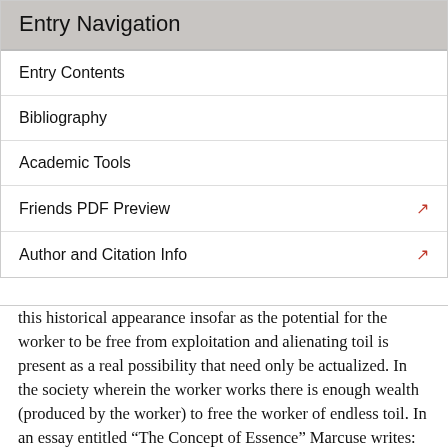Entry Navigation
Entry Contents
Bibliography
Academic Tools
Friends PDF Preview
Author and Citation Info
this historical appearance insofar as the potential for the worker to be free from exploitation and alienating toil is present as a real possibility that need only be actualized. In the society wherein the worker works there is enough wealth (produced by the worker) to free the worker of endless toil. In an essay entitled “The Concept of Essence” Marcuse writes: “Materialist theory thus transcends the given state of fact and moves toward a different potentiality, proceeding from immediate appearance to the essence that appears in it. But here appearance and essence become members of a real